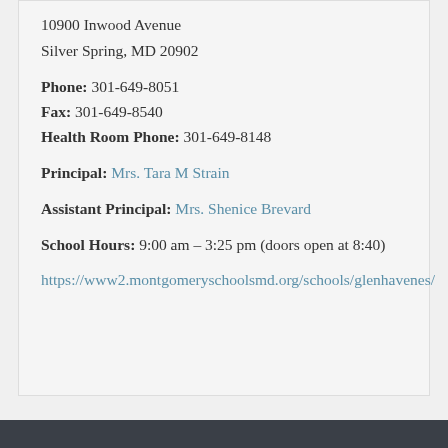10900 Inwood Avenue
Silver Spring, MD 20902
Phone: 301-649-8051
Fax: 301-649-8540
Health Room Phone: 301-649-8148
Principal: Mrs. Tara M Strain
Assistant Principal: Mrs. Shenice Brevard
School Hours: 9:00 am – 3:25 pm (doors open at 8:40)
https://www2.montgomeryschoolsmd.org/schools/glenhavenes/